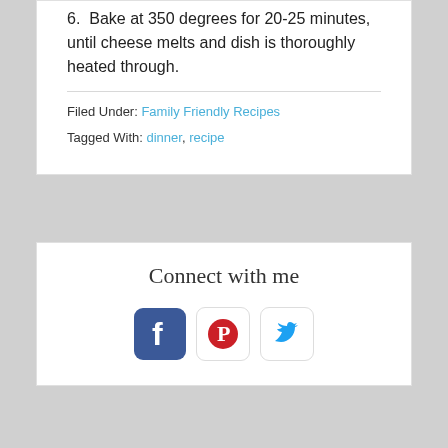6.  Bake at 350 degrees for 20-25 minutes, until cheese melts and dish is thoroughly heated through.
Filed Under: Family Friendly Recipes
Tagged With: dinner, recipe
Connect with me
[Figure (logo): Social media icons: Facebook, Pinterest, Twitter]